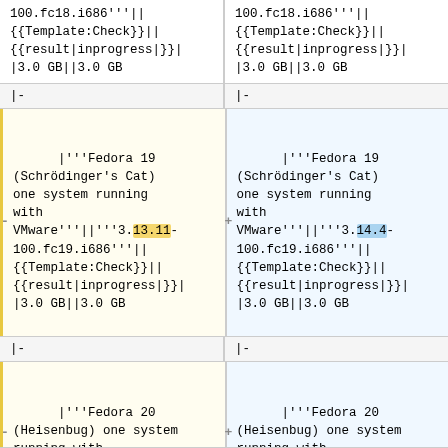100.fc18.i686'''||
{{Template:Check}}||
{{result|inprogress|}}|
|3.0 GB||3.0 GB
100.fc18.i686'''||
{{Template:Check}}||
{{result|inprogress|}}|
|3.0 GB||3.0 GB
|-
|-
|'''Fedora 19 (Schrödinger's Cat) one system running with VMware'''||'''3.13.11-100.fc19.i686'''||
{{Template:Check}}||
{{result|inprogress|}}|
|3.0 GB||3.0 GB
|'''Fedora 19 (Schrödinger's Cat) one system running with VMware'''||'''3.14.4-100.fc19.i686'''||
{{Template:Check}}||
{{result|inprogress|}}|
|3.0 GB||3.0 GB
|-
|-
|'''Fedora 20 (Heisenbug) one system running with VMware'''||'''3.14.3-200.fc20.i686'''||
|'''Fedora 20 (Heisenbug) one system running with VMware'''||'''3.14.4-200.fc20.i686'''||